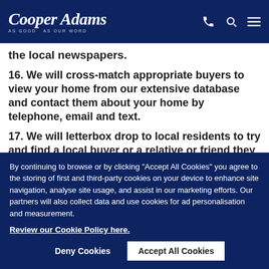Cooper Adams — AS GOOD AS OUR WORD
the local newspapers.
16. We will cross-match appropriate buyers to view your home from our extensive database and contact them about your home by telephone, email and text.
17. We will letterbox drop to local residents to try and find a local buyer or a relative or friend they may know wanting this area.
By continuing to browse or by clicking “Accept All Cookies” you agree to the storing of first and third-party cookies on your device to enhance site navigation, analyse site usage, and assist in our marketing efforts. Our partners will also collect data and use cookies for ad personalisation and measurement.
Review our Cookie Policy here.